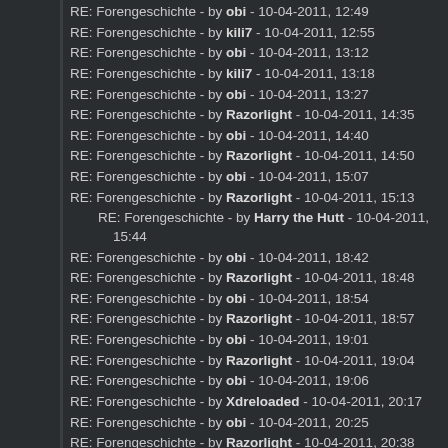RE: Forengeschichte - by obi - 10-04-2011, 12:49
RE: Forengeschichte - by kili7 - 10-04-2011, 12:55
RE: Forengeschichte - by obi - 10-04-2011, 13:12
RE: Forengeschichte - by kili7 - 10-04-2011, 13:18
RE: Forengeschichte - by obi - 10-04-2011, 13:27
RE: Forengeschichte - by Razorlight - 10-04-2011, 14:35
RE: Forengeschichte - by obi - 10-04-2011, 14:40
RE: Forengeschichte - by Razorlight - 10-04-2011, 14:50
RE: Forengeschichte - by obi - 10-04-2011, 15:07
RE: Forengeschichte - by Razorlight - 10-04-2011, 15:13
RE: Forengeschichte - by Harry the Hutt - 10-04-2011, 15:44
RE: Forengeschichte - by obi - 10-04-2011, 18:42
RE: Forengeschichte - by Razorlight - 10-04-2011, 18:48
RE: Forengeschichte - by obi - 10-04-2011, 18:54
RE: Forengeschichte - by Razorlight - 10-04-2011, 18:57
RE: Forengeschichte - by obi - 10-04-2011, 19:01
RE: Forengeschichte - by Razorlight - 10-04-2011, 19:04
RE: Forengeschichte - by obi - 10-04-2011, 19:06
RE: Forengeschichte - by Xdreloaded - 10-04-2011, 20:17
RE: Forengeschichte - by obi - 10-04-2011, 20:25
RE: Forengeschichte - by Razorlight - 10-04-2011, 20:38
RE: Forengeschichte - by obi - 10-04-2011, 21:11
RE: Forengeschichte - by Razorlight - 10-04-2011, 21:57
RE: Forengeschichte - by obi - 10-04-2011, 21:59